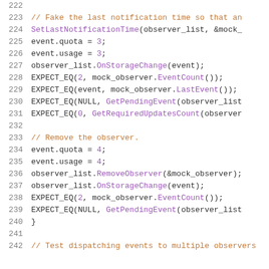Source code listing, lines 222-242, C++ unit test code for observer storage change events